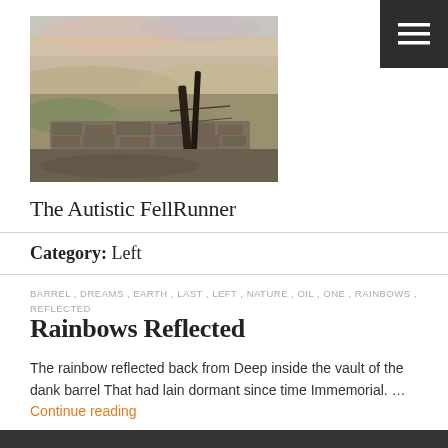[Figure (illustration): Painting of a moorland/fell landscape with a stone wall and wooden fence post in foreground, muted earthy tones of browns, greens, and pale blues/pinks in sky.]
The Autistic FellRunner
Category: Left
BARREL , DREAMS , EARTH , LAST , LEFT , NATURE , OIL , ONE , RAINBOWS , REFLECTED
Rainbows Reflected
The rainbow reflected back from Deep inside the vault of the dank barrel That had lain dormant since time Immemorial. … Continue reading